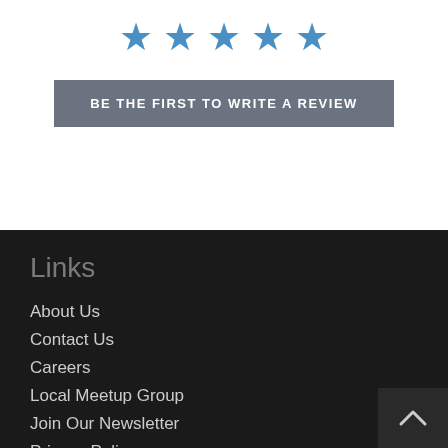[Figure (other): Five blue star icons representing a rating display]
BE THE FIRST TO WRITE A REVIEW
Links
About Us
Contact Us
Careers
Local Meetup Group
Join Our Newsletter
Privacy Policy
Terms of Service
Shop